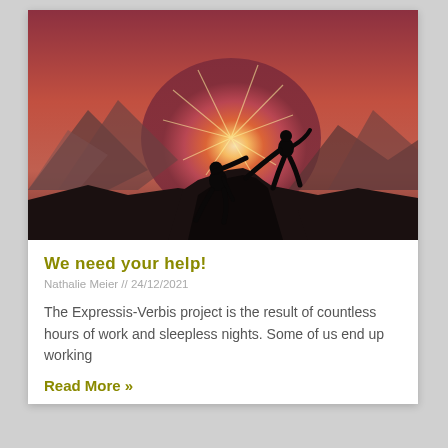[Figure (photo): Two silhouetted figures on a rocky mountain peak at sunset. One person at the top reaches down to help another person climbing up, with sunlight bursting between them and mountains in the background. Warm pink and reddish tones fill the sky.]
We need your help!
Nathalie Meier // 24/12/2021
The Expressis-Verbis project is the result of countless hours of work and sleepless nights. Some of us end up working
Read More »